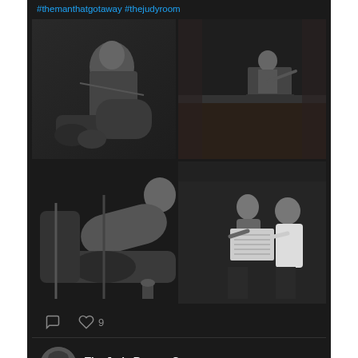#themanthatgotaway #thejudyroom
[Figure (photo): Four black and white photos in a 2x2 grid: top-left shows a woman seated looking up with bottles in foreground; top-right shows a woman at a piano or podium on a stage; bottom-left shows a woman reclining and smiling; bottom-right shows two people looking at sheet music]
♡ 9
The Judy Room - Ce... @TheJudyRo... · Sep 4
Your daily dose of Judy!